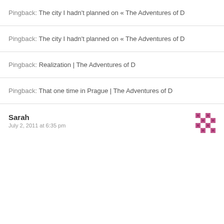Pingback: The city I hadn't planned on « The Adventures of D
Pingback: The city I hadn't planned on « The Adventures of D
Pingback: Realization | The Adventures of D
Pingback: That one time in Prague | The Adventures of D
Sarah
July 2, 2011 at 6:35 pm